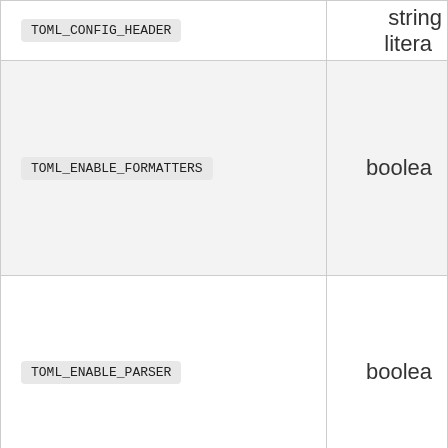| Name | Type |
| --- | --- |
| TOML_CONFIG_HEADER | string literal |
| TOML_ENABLE_FORMATTERS | boolean |
| TOML_ENABLE_PARSER | boolean |